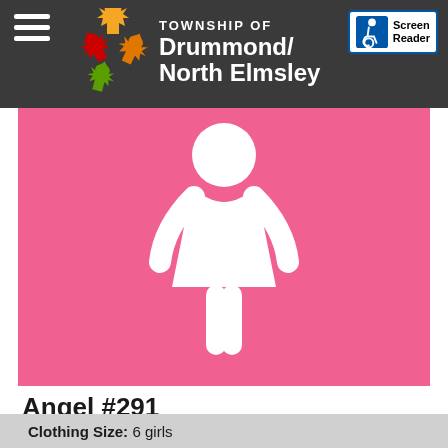TOWNSHIP OF Drummond/North Elmsley
[Figure (illustration): White female person silhouette (restroom-style icon) on pink background]
Angel #291
Girl - 6 years
Clothing Size: 6 girls